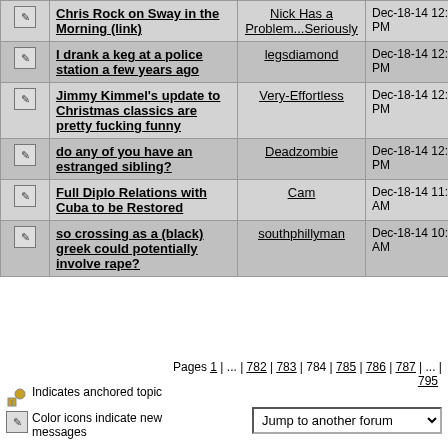|  | Topic | Author | Date | Replies | Views |
| --- | --- | --- | --- | --- | --- |
| [icon] | Chris Rock on Sway in the Morning (link) | Nick Has a Problem...Seriously | Dec-18-14 12:36 PM | 7 | 710 |
| [icon] | I drank a keg at a police station a few years ago | legsdiamond | Dec-18-14 12:35 PM | 15 | 842 |
| [icon] | Jimmy Kimmel's update to Christmas classics are pretty fucking funny | Very-Effortless | Dec-18-14 12:23 PM | 3 | 496 |
| [icon] | do any of you have an estranged sibling? | Deadzombie | Dec-18-14 12:08 PM | 78 | 1185 |
| [icon] | Full Diplo Relations with Cuba to be Restored | Cam | Dec-18-14 11:59 AM | 77 | 1211 |
| [icon] | so crossing as a (black) greek could potentially involve rape? | southphillyman | Dec-18-14 10:54 AM | 139 | 1883 |
Pages 1 | ... | 782 | 783 | 784 | 785 | 786 | 787 | ... | 795
Indicates anchored topic
Color icons indicate new messages
Jump to another forum